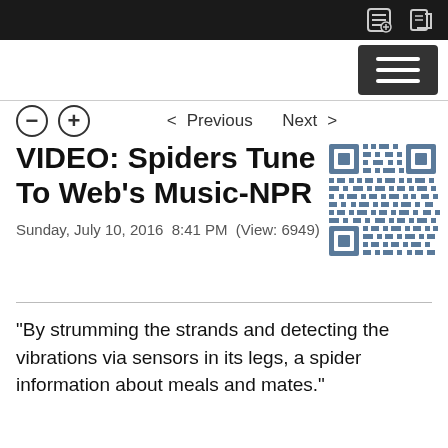VIDEO: Spiders Tune In To Web's Music-NPR
Sunday, July 10, 2016  8:41 PM  (View: 6949)
[Figure (other): QR code linking to the article]
"By strumming the strands and detecting the vibrations via sensors in its legs, a spider information about meals and mates."